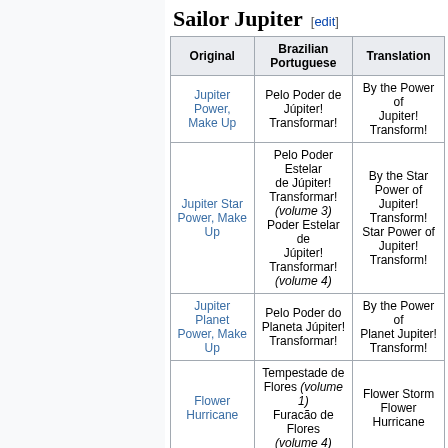Sailor Jupiter [edit]
| Original | Brazilian Portuguese | Translation |
| --- | --- | --- |
| Jupiter Power, Make Up | Pelo Poder de Júpiter! Transformar! | By the Power of Jupiter! Transform! |
| Jupiter Star Power, Make Up | Pelo Poder Estelar de Júpiter! Transformar! (volume 3) Poder Estelar de Júpiter! Transformar! (volume 4) | By the Star Power of Jupiter! Transform! Star Power of Jupiter! Transform! |
| Jupiter Planet Power, Make Up | Pelo Poder do Planeta Júpiter! Transformar! | By the Power of Planet Jupiter! Transform! |
| Flower Hurricane | Tempestade de Flores (volume 1) Furacão de Flores (volume 4) | Flower Storm Flower Hurricane |
| Jupiter Thunderbolt | Trovão de Júpiter | Jupiter Thunder |
| Supreme | Trovão Supremo | Jupiter's Supreme |